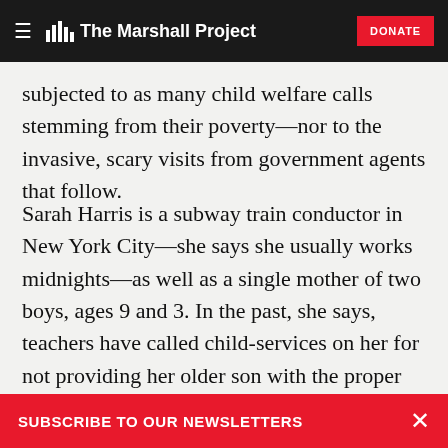The Marshall Project — DONATE
subjected to as many child welfare calls stemming from their poverty—nor to the invasive, scary visits from government agents that follow.
Sarah Harris is a subway train conductor in New York City—she says she usually works midnights—as well as a single mother of two boys, ages 9 and 3. In the past, she says, teachers have called child-services on her for not providing her older son with the proper ADHD medicine. She also worried that catching up on sleep during the day would subject her to calls about not supervising her kids.
SUBSCRIBE TO OUR NEWSLETTERS